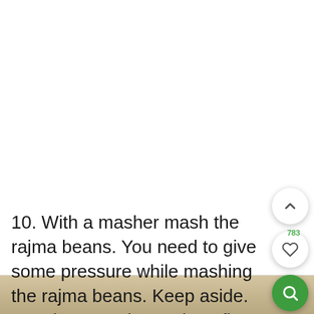[Figure (screenshot): White blank area at top of page, part of a recipe web page screenshot]
10. With a masher mash the rajma beans. You need to give some pressure while mashing the rajma beans. Keep aside. You don't need to make a fine paste.
[Figure (photo): Partial bottom edge of a food photograph showing rajma beans preparation]